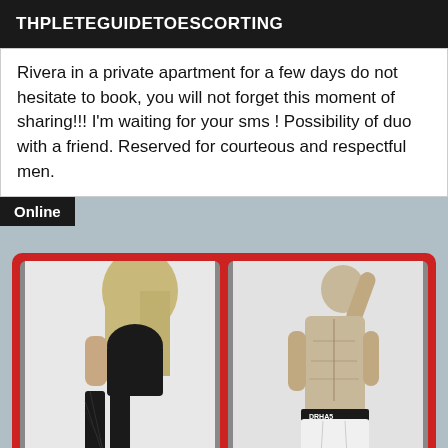THPLETEGUIDETOESCORTING
Rivera in a private apartment for a few days do not hesitate to book, you will not forget this moment of sharing!!! I'm waiting for your sms ! Possibility of duo with a friend. Reserved for courteous and respectful men.
[Figure (photo): Listing card with 'Online' badge, showing two black-and-white photos side by side on a red background: a blonde woman in black lingerie and fishnet stockings (left) and a muscular man in white underwear (right).]